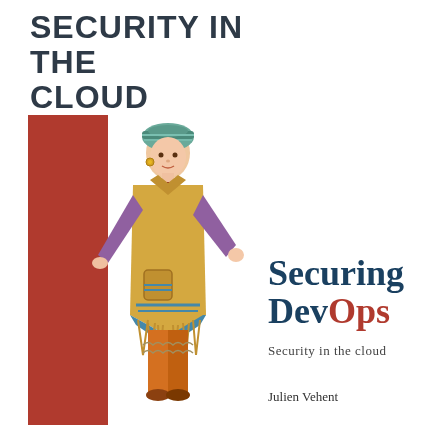SECURITY IN THE CLOUD
[Figure (illustration): Book cover for 'Securing DevOps: Security in the cloud' by Julien Vehent. Features a red vertical bar on the left with an illustrated figure of a person in traditional/historical dress overlapping it, and the book title 'Securing DevOps' in teal and red text on the right, with subtitle 'Security in the cloud' and author name 'Julien Vehent'.]